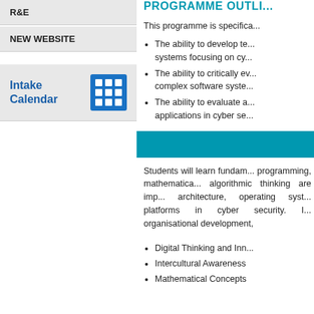R&E
NEW WEBSITE
Intake Calendar
PROGRAMME OUTLI...
This programme is specifica...
The ability to develop te... systems focusing on cy...
The ability to critically ev... complex software syste...
The ability to evaluate a... applications in cyber se...
Students will learn fundam... programming, mathematica... algorithmic thinking are imp... architecture, operating syst... platforms in cyber security. I... organisational development,
Digital Thinking and Inn...
Intercultural Awareness
Mathematical Concepts